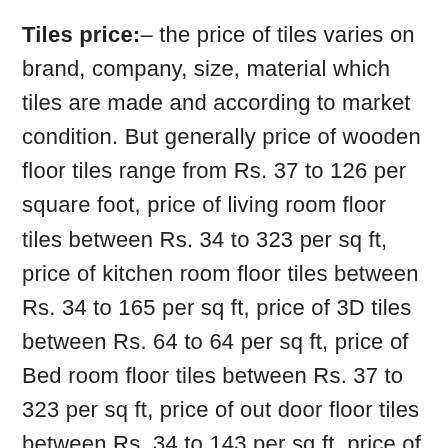Tiles price:– the price of tiles varies on brand, company, size, material which tiles are made and according to market condition. But generally price of wooden floor tiles range from Rs. 37 to 126 per square foot, price of living room floor tiles between Rs. 34 to 323 per sq ft, price of kitchen room floor tiles between Rs. 34 to 165 per sq ft, price of 3D tiles between Rs. 64 to 64 per sq ft, price of Bed room floor tiles between Rs. 37 to 323 per sq ft, price of out door floor tiles between Rs. 34 to 143 per sq ft, price of vitrified floor tiles between Rs. 55 to 323 per sq ft, price of marble floor tiles between Rs. 39 to 323 per sq ft.